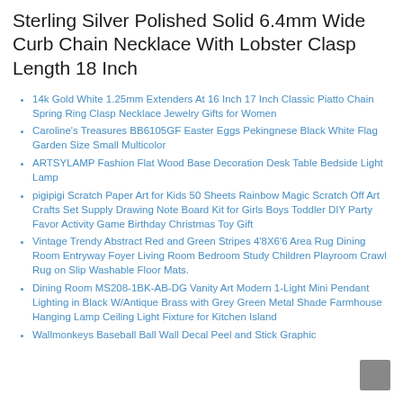Sterling Silver Polished Solid 6.4mm Wide Curb Chain Necklace With Lobster Clasp Length 18 Inch
14k Gold White 1.25mm Extenders At 16 Inch 17 Inch Classic Piatto Chain Spring Ring Clasp Necklace Jewelry Gifts for Women
Caroline's Treasures BB6105GF Easter Eggs Pekingnese Black White Flag Garden Size Small Multicolor
ARTSYLAMP Fashion Flat Wood Base Decoration Desk Table Bedside Light Lamp
pigipigi Scratch Paper Art for Kids 50 Sheets Rainbow Magic Scratch Off Art Crafts Set Supply Drawing Note Board Kit for Girls Boys Toddler DIY Party Favor Activity Game Birthday Christmas Toy Gift
Vintage Trendy Abstract Red and Green Stripes 4'8X6'6 Area Rug Dining Room Entryway Foyer Living Room Bedroom Study Children Playroom Crawl Rug on Slip Washable Floor Mats.
Dining Room MS208-1BK-AB-DG Vanity Art Modern 1-Light Mini Pendant Lighting in Black W/Antique Brass with Grey Green Metal Shade Farmhouse Hanging Lamp Ceiling Light Fixture for Kitchen Island
Wallmonkeys Baseball Ball Wall Decal Peel and Stick Graphic